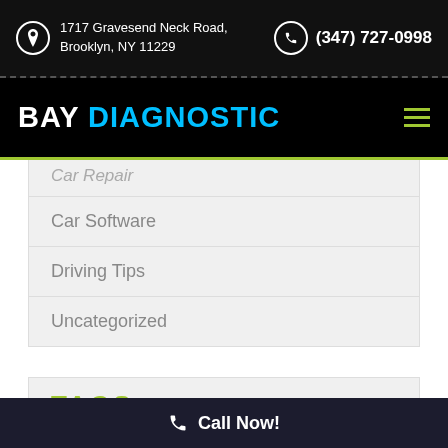1717 Gravesend Neck Road, Brooklyn, NY 11229 | (347) 727-0998
BAY DIAGNOSTIC
Car Repair
Car Software
Driving Tips
Uncategorized
TAGS
Call Now!